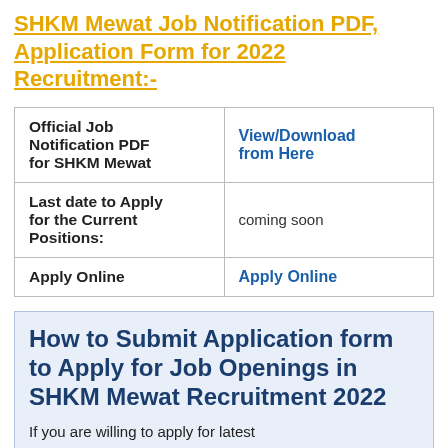SHKM Mewat Job Notification PDF, Application Form for 2022 Recruitment:-
| Official Job Notification PDF for SHKM Mewat | View/Download from Here |
| Last date to Apply for the Current Positions: | coming soon |
| Apply Online | Apply Online |
How to Submit Application form to Apply for Job Openings in SHKM Mewat Recruitment 2022
If you are willing to apply for latest